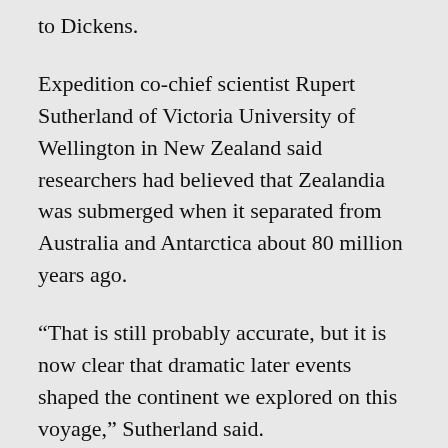to Dickens.
Expedition co-chief scientist Rupert Sutherland of Victoria University of Wellington in New Zealand said researchers had believed that Zealandia was submerged when it separated from Australia and Antarctica about 80 million years ago.
“That is still probably accurate, but it is now clear that dramatic later events shaped the continent we explored on this voyage,” Sutherland said.
“Big geographic changes across northern Zealandia, which is about the same size as